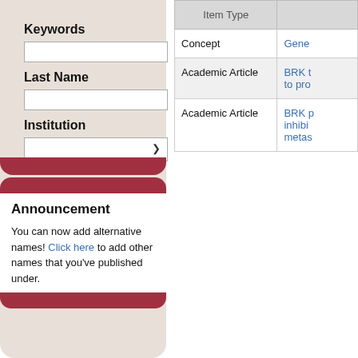Keywords
Last Name
Institution
Find People
More Search Options
Announcement
You can now add alternative names! Click here to add other names that you've published under.
| Item Type |  |
| --- | --- |
| Concept | Gene... |
| Academic Article | BRK t... to pro... |
| Academic Article | BRK p... inhibi... metas... |